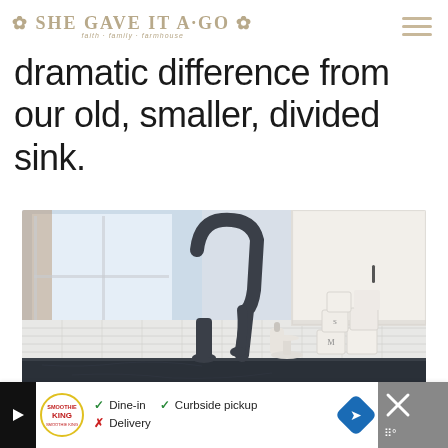SHE GAVE IT A GO — faith · family · farmhouse
dramatic difference from our old, smaller, divided sink.
[Figure (photo): Kitchen counter scene with a dark pull-down faucet in the foreground, white subway tile backsplash, white upper cabinets, and decorative mugs/canisters on the counter near a window.]
[Figure (infographic): Advertisement bar: Smoothie King ad with play icon, logo, dine-in/curbside pickup/delivery options, navigation direction icon, and close button.]